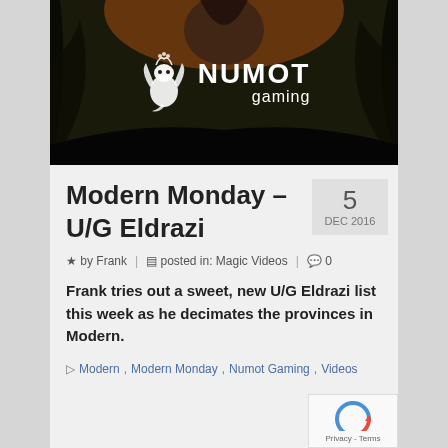[Figure (illustration): Numot Gaming banner image with dark fantasy creature background and white dragon logo with 'NUMOT gaming' text]
Modern Monday – U/G Eldrazi
by Frank | posted in: Magic Videos | 0
Frank tries out a sweet, new U/G Eldrazi list this week as he decimates the provinces in Modern.
Modern, Modern Monday, Numot Gaming, Videos